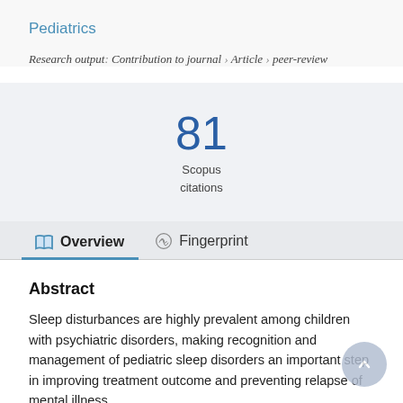Pediatrics
Research output: Contribution to journal › Article › peer-review
[Figure (infographic): 81 Scopus citations badge]
Overview   Fingerprint
Abstract
Sleep disturbances are highly prevalent among children with psychiatric disorders, making recognition and management of pediatric sleep disorders an important step in improving treatment outcome and preventing relapse of mental illness